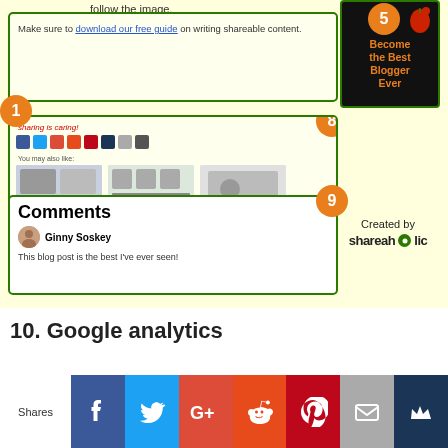follow the image.
Make sure to download our free guide on writing shareable content.
[Figure (screenshot): Screenshot of a blog post sharing interface with social media icons and related posts widget showing three article thumbnails]
[Figure (photo): Black book cover with text 'Become the Best Blogger Ever' and an apple image]
Comments
Ginny Soskey
This blog post is the best I've ever seen!
Created by Shareaholic
10. Google analytics
[Figure (infographic): Social sharing bar with Facebook, Twitter, Google+, Reddit, Pinterest, Email, and Crown icons]